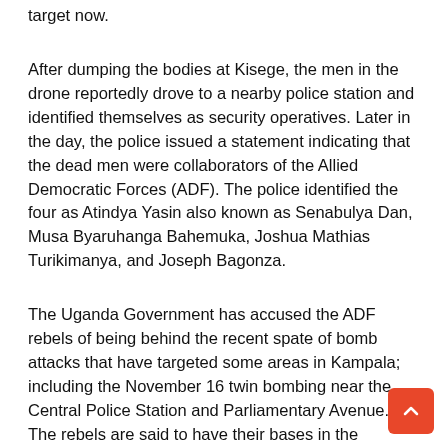target now.
After dumping the bodies at Kisege, the men in the drone reportedly drove to a nearby police station and identified themselves as security operatives. Later in the day, the police issued a statement indicating that the dead men were collaborators of the Allied Democratic Forces (ADF). The police identified the four as Atindya Yasin also known as Senabulya Dan, Musa Byaruhanga Bahemuka, Joshua Mathias Turikimanya, and Joseph Bagonza.
The Uganda Government has accused the ADF rebels of being behind the recent spate of bomb attacks that have targeted some areas in Kampala; including the November 16 twin bombing near the Central Police Station and Parliamentary Avenue.  The rebels are said to have their bases in the Rwenzori Mountains in Eastern Democratic Republic of Congo.
Sources told The Independent that Atindya was at times posing as an informant of Uganda security personnel in Bundibugyo and that he implicated many people during the arrest of Rwenzururu Kingdom royal guards.